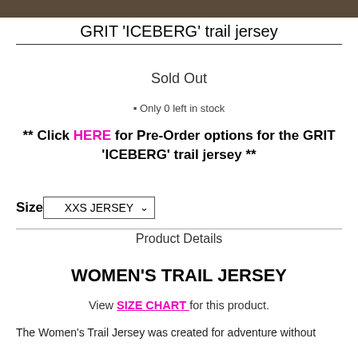[Figure (photo): Top portion of a product photo showing rocky/dirt trail surface]
GRIT 'ICEBERG' trail jersey
Sold Out
⬛ Only 0 left in stock
** Click HERE for Pre-Order options for the GRIT 'ICEBERG' trail jersey **
Size  XXS JERSEY
Product Details
WOMEN'S TRAIL JERSEY
View SIZE CHART for this product.
The Women's Trail Jersey was created for adventure without